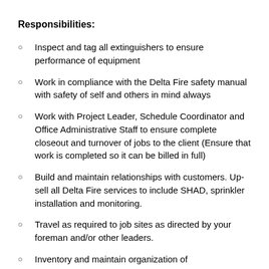Responsibilities:
Inspect and tag all extinguishers to ensure performance of equipment
Work in compliance with the Delta Fire safety manual with safety of self and others in mind always
Work with Project Leader, Schedule Coordinator and Office Administrative Staff to ensure complete closeout and turnover of jobs to the client (Ensure that work is completed so it can be billed in full)
Build and maintain relationships with customers. Up-sell all Delta Fire services to include SHAD, sprinkler installation and monitoring.
Travel as required to job sites as directed by your foreman and/or other leaders.
Inventory and maintain organization of